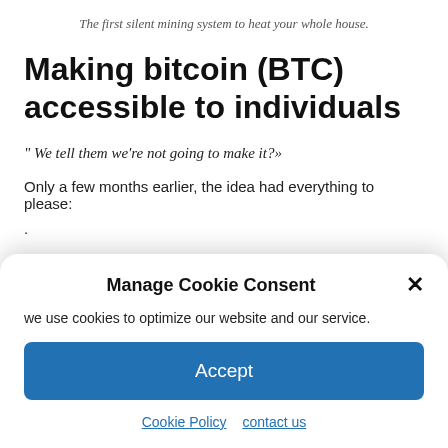The first silent mining system to heat your whole house.
Making bitcoin (BTC) accessible to individuals
" We tell them we're not going to make it?»
Only a few months earlier, the idea had everything to please:
.
Manage Cookie Consent
we use cookies to optimize our website and our service.
Accept
Cookie Policy   contact us